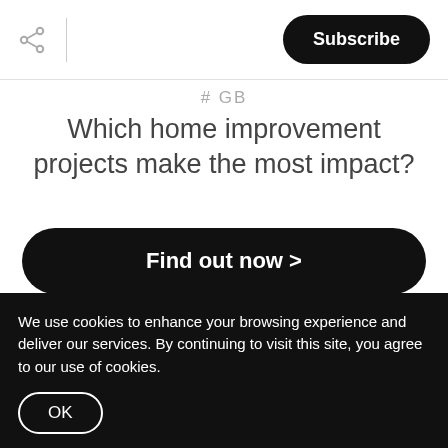Subscribe
# GB
Which home improvement projects make the most impact?
Find out now >
POWERED BY
[Figure (logo): Curaytор logo with red circular icon and bold text CURAYTOP]
We use cookies to enhance your browsing experience and deliver our services. By continuing to visit this site, you agree to our use of cookies.
OK